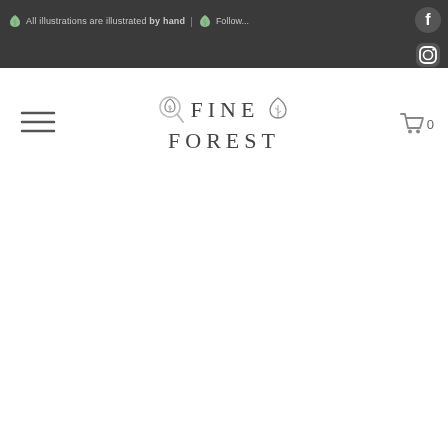🌿 All illustrations are illustrated by hand | 🌿 Follow...
[Figure (logo): Fine Forest brand logo with leaf decorations, text says FINE FOREST in decorative serif font]
☰ (hamburger menu)
🛒 0 (cart icon with count)